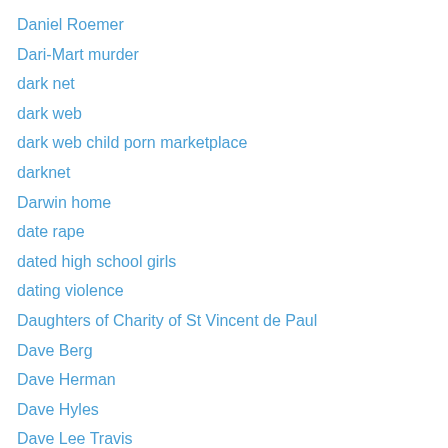Daniel Roemer
Dari-Mart murder
dark net
dark web
dark web child porn marketplace
darknet
Darwin home
date rape
dated high school girls
dating violence
Daughters of Charity of St Vincent de Paul
Dave Berg
Dave Herman
Dave Hyles
Dave Lee Travis
David Allen Turpin
David Beckham
David Beckham tattoos
David Berg
David Cameron